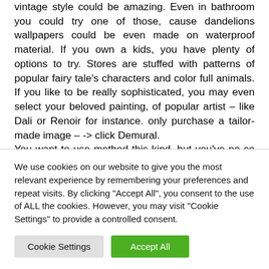vintage style could be amazing. Even in bathroom you could try one of those, cause dandelions wallpapers could be even made on waterproof material. If you own a kids, you have plenty of options to try. Stores are stuffed with patterns of popular fairy tale's characters and color full animals. If you like to be really sophisticated, you may even select your beloved painting, of popular artist – like Dali or Renoir for instance. only purchase a tailor-made image – -> click Demural.
You want to use method this kind, but you've no concept where to find wall murals World maps, food
We use cookies on our website to give you the most relevant experience by remembering your preferences and repeat visits. By clicking "Accept All", you consent to the use of ALL the cookies. However, you may visit "Cookie Settings" to provide a controlled consent.